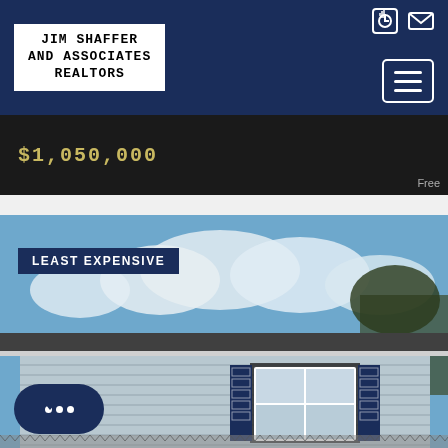[Figure (logo): Jim Shaffer and Associates Realtors logo in white bordered box on dark navy header]
[Figure (photo): Dark background panel showing price $1,050,000 in gold monospace text with 'Free' partially visible at bottom right]
[Figure (photo): Exterior photo of a residential house with light blue vinyl siding, white window trim with decorative shutters, and blue sky with clouds above. Badge reads LEAST EXPENSIVE.]